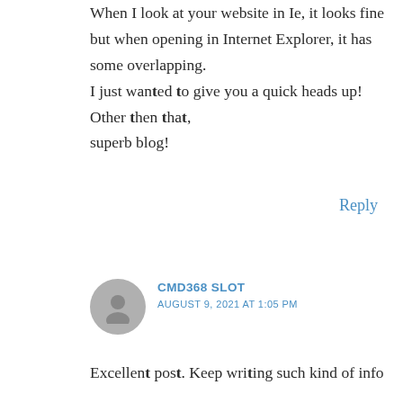When I look at your website in Ie, it looks fine but when opening in Internet Explorer, it has some overlapping. I just wanted to give you a quick heads up! Other then that, superb blog!
Reply
CMD368 SLOT
AUGUST 9, 2021 AT 1:05 PM
Excellent post. Keep writing such kind of info